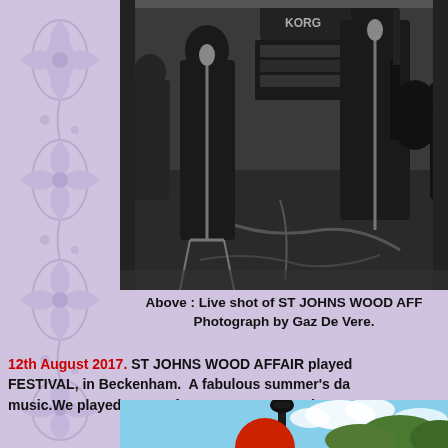[Figure (photo): Black and white live concert photograph showing musicians on stage with a KORG keyboard visible, guitar player in center-right, microphone stands, cables on stage floor, and audience in background.]
Above : Live shot of ST JOHNS WOOD AFF Photograph by Gaz De Vere.
12th August 2017. ST JOHNS WOOD AFFAIR played FESTIVAL, in Beckenham. A fabulous summer's da music.We played some of our own songs, and some
[Figure (photo): Partial outdoor photograph showing a dark ornate lamp post, blue sky with white clouds, green tree foliage on right side, and a partial red balloon at bottom left.]